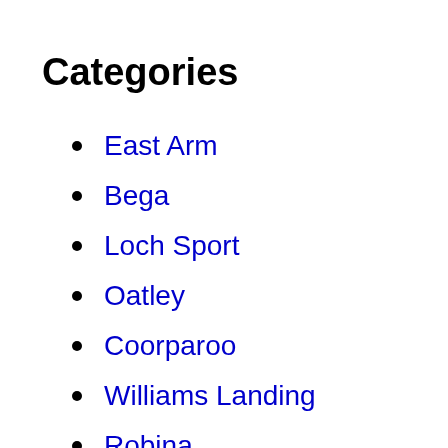Categories
East Arm
Bega
Loch Sport
Oatley
Coorparoo
Williams Landing
Robina
Ewingsdale
Frikin